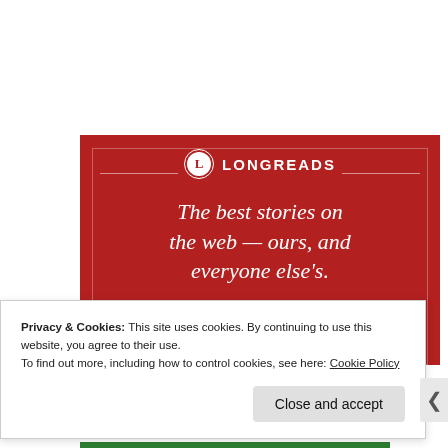[Figure (illustration): Longreads promotional banner: dark red background with Longreads logo (circle with L, brand name in caps), decorative inner border rectangle, italic tagline text 'The best stories on the web — ours, and everyone else's.' in white serif font, and a dark button at the bottom.]
Privacy & Cookies: This site uses cookies. By continuing to use this website, you agree to their use.
To find out more, including how to control cookies, see here: Cookie Policy